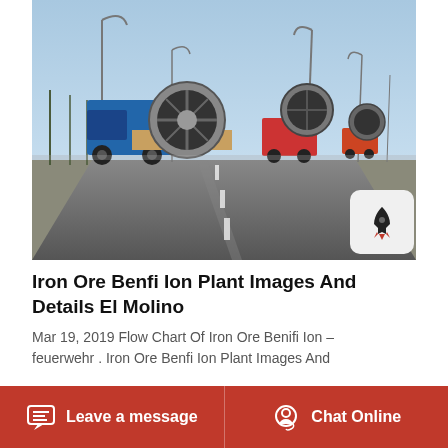[Figure (photo): A convoy of large industrial flatbed trucks transporting massive circular equipment (likely rotary kilns or similar industrial drums) along a wide highway lined with street lamps and sparse trees under a clear blue sky.]
Iron Ore Benfi Ion Plant Images And Details El Molino
Mar 19, 2019 Flow Chart Of Iron Ore Benifi Ion – feuerwehr . Iron Ore Benfi Ion Plant Images And
Leave a message   Chat Online